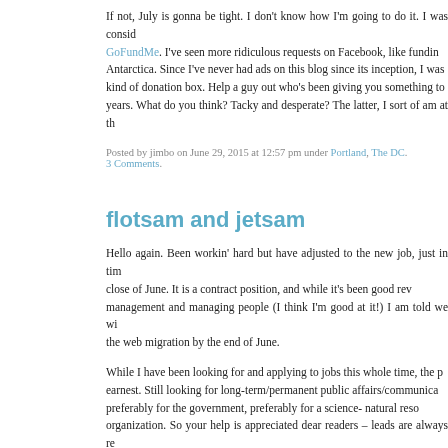If not, July is gonna be tight. I don't know how I'm going to do it. I was consid… GoFundMe. I've seen more ridiculous requests on Facebook, like fundin… Antarctica. Since I've never had ads on this blog since its inception, I was … kind of donation box. Help a guy out who's been giving you something to … years. What do you think? Tacky and desperate? The latter, I sort of am at th…
Posted by jimbo on June 29, 2015 at 12:57 pm under Portland, The DC. 3 Comments.
flotsam and jetsam
Hello again. Been workin' hard but have adjusted to the new job, just in tim… close of June. It is a contract position, and while it's been good rev… management and managing people (I think I'm good at it!) I am told we wi… the web migration by the end of June.
While I have been looking for and applying to jobs this whole time, the p… earnest. Still looking for long-term/permanent public affairs/communica… preferably for the government, preferably for a science- natural reso… organization. So your help is appreciated dear readers – leads are always re… has been a rocky and fruitless job situation since September 2012 and I co… good news and developments.
Last month I actually had a phone interview for a job I was genetical… performing public affairs work for a sage grouse conservation program i…